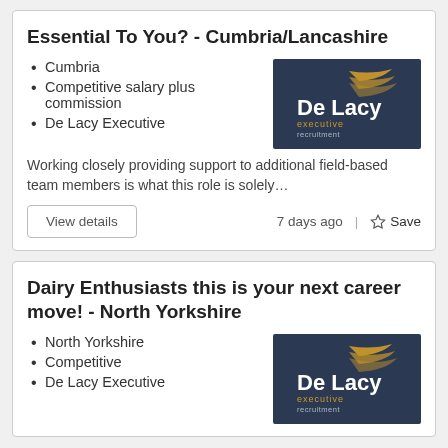Essential To You? - Cumbria/Lancashire
Cumbria
Competitive salary plus commission
De Lacy Executive
[Figure (logo): De Lacy executive recruitment logo on dark blue background]
Working closely providing support to additional field-based team members is what this role is solely…
7 days ago
Dairy Enthusiasts this is your next career move! - North Yorkshire
North Yorkshire
Competitive
De Lacy Executive
[Figure (logo): De Lacy executive recruitment logo on dark blue background]